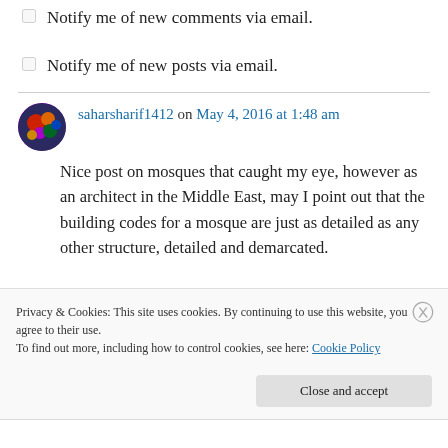Notify me of new comments via email.
Notify me of new posts via email.
saharsharif1412 on May 4, 2016 at 1:48 am
Nice post on mosques that caught my eye, however as an architect in the Middle East, may I point out that the building codes for a mosque are just as detailed as any other structure, detailed and demarcated.
Privacy & Cookies: This site uses cookies. By continuing to use this website, you agree to their use.
To find out more, including how to control cookies, see here: Cookie Policy
Close and accept